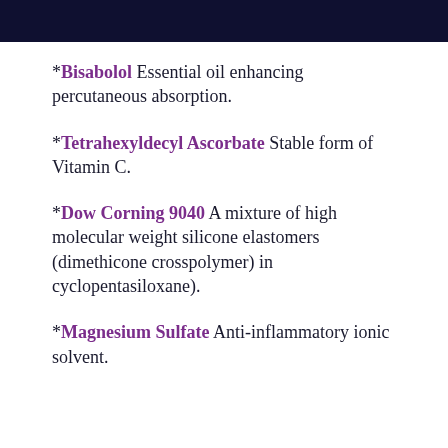*Bisabolol Essential oil enhancing percutaneous absorption.
*Tetrahexyldecyl Ascorbate Stable form of Vitamin C.
*Dow Corning 9040 A mixture of high molecular weight silicone elastomers (dimethicone crosspolymer) in cyclopentasiloxane).
*Magnesium Sulfate Anti-inflammatory ionic solvent.